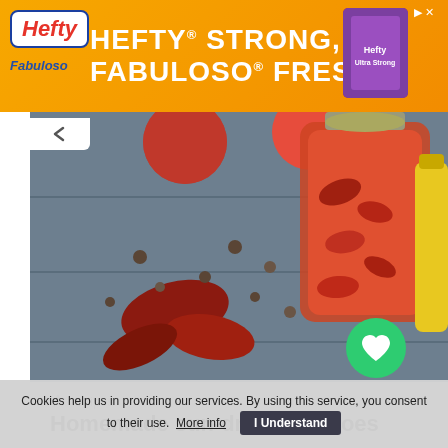[Figure (infographic): Orange advertisement banner for Hefty brand. Large bold white text reads 'HEFTY STRONG, FABULOSO FRESH'. Hefty logo in white box top left, product image top right, close button top right corner.]
[Figure (photo): Food photography showing sun-dried tomatoes on a blue wooden surface, a glass jar filled with preserved tomatoes in oil, fresh red tomatoes in the background, scattered black peppercorns, and a yellow bottle. A green circular heart/favorite button is overlaid in the bottom right of the image.]
✕  recipes
Homemade sun-dried tomatoes
Cookies help us in providing our services. By using this service, you consent to their use.  More info  |  I Understand